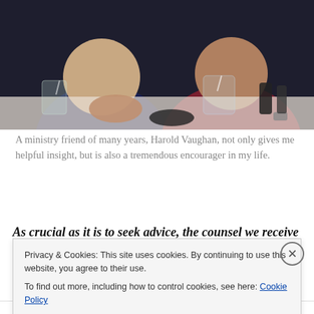[Figure (photo): Two men seated at a restaurant table with drinks, glasses, and condiments visible. The man on the left wears a dark navy blazer and has his hands clasped; the man on the right wears a red/maroon checked shirt and has a watch on his wrist.]
A ministry friend of many years, Harold Vaughan, not only gives me helpful insight, but is also a tremendous encourager in my life.
As crucial as it is to seek advice, the counsel we receive is only as good as the person that offers it. That means that
Privacy & Cookies: This site uses cookies. By continuing to use this website, you agree to their use.
To find out more, including how to control cookies, see here: Cookie Policy